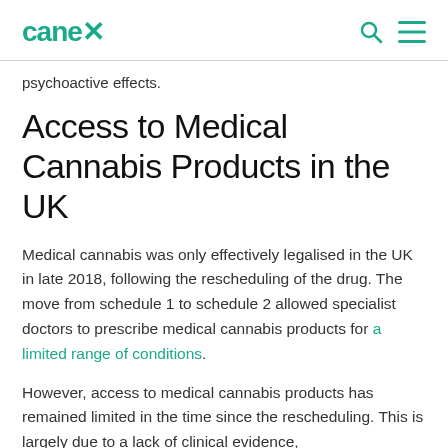canex [logo] [search icon] [menu icon]
psychoactive effects.
Access to Medical Cannabis Products in the UK
Medical cannabis was only effectively legalised in the UK in late 2018, following the rescheduling of the drug. The move from schedule 1 to schedule 2 allowed specialist doctors to prescribe medical cannabis products for a limited range of conditions.
However, access to medical cannabis products has remained limited in the time since the rescheduling. This is largely due to a lack of clinical evidence, noted for the National Institute of Health and C…